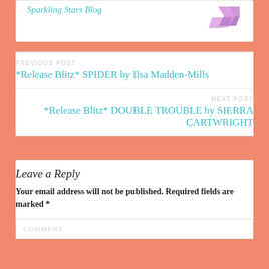Sparkling Stars Blog
PREVIOUS POST
*Release Blitz* SPIDER by Ilsa Madden-Mills
NEXT POST
*Release Blitz* DOUBLE TROUBLE by SIERRA CARTWRIGHT
Leave a Reply
Your email address will not be published. Required fields are marked *
COMMENT